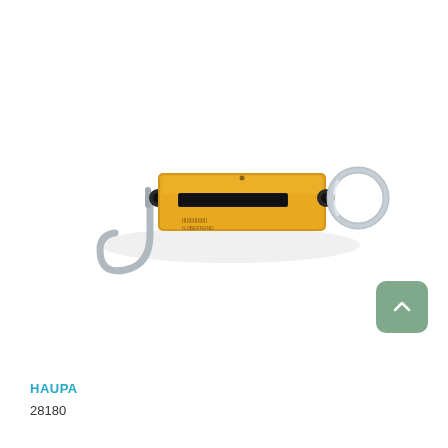[Figure (photo): A yellow spring scale / dynamometer with a metal hook on the left side and a ring on the right side. The body is rectangular yellow with a slot/window in the middle for reading measurements. Black fasteners visible at both ends.]
HAUPA
28180